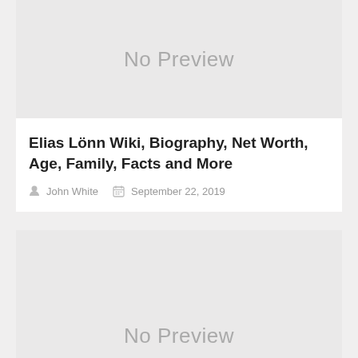[Figure (other): No Preview placeholder image area, light gray background]
Elias Lönn Wiki, Biography, Net Worth, Age, Family, Facts and More
John White   September 22, 2019
[Figure (other): No Preview placeholder image area, light gray background (partial, cropped at bottom)]